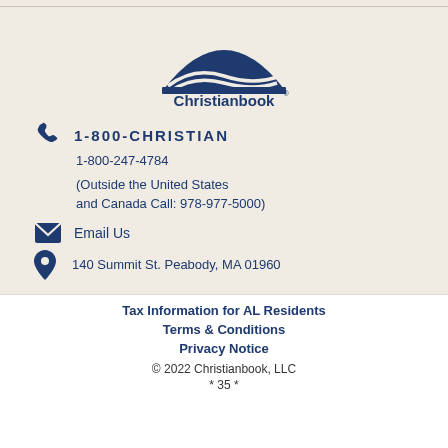[Figure (logo): Christianbook logo — open book with sun/waves above text 'Christianbook']
1-800-CHRISTIAN
1-800-247-4784
(Outside the United States and Canada Call: 978-977-5000)
Email Us
140 Summit St. Peabody, MA 01960
Tax Information for AL Residents
Terms & Conditions
Privacy Notice
© 2022 Christianbook, LLC
* 35 *